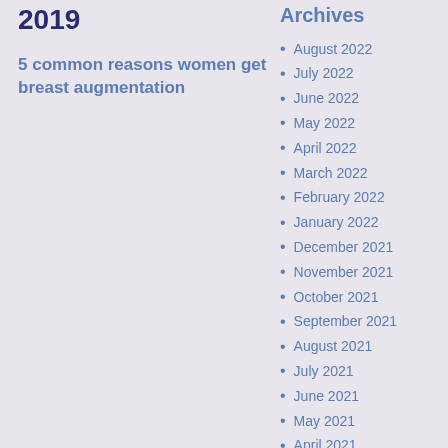2019
5 common reasons women get breast augmentation
Archives
August 2022
July 2022
June 2022
May 2022
April 2022
March 2022
February 2022
January 2022
December 2021
November 2021
October 2021
September 2021
August 2021
July 2021
June 2021
May 2021
April 2021
March 2021
February 2021